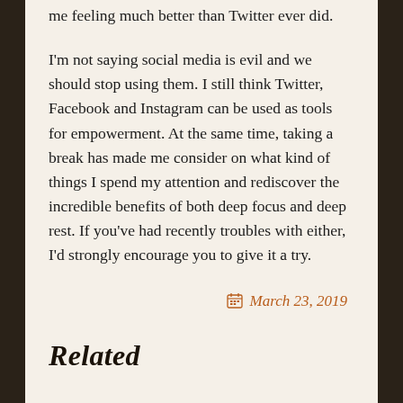me feeling much better than Twitter ever did.
I'm not saying social media is evil and we should stop using them. I still think Twitter, Facebook and Instagram can be used as tools for empowerment. At the same time, taking a break has made me consider on what kind of things I spend my attention and rediscover the incredible benefits of both deep focus and deep rest. If you've had recently troubles with either, I'd strongly encourage you to give it a try.
March 23, 2019
Related